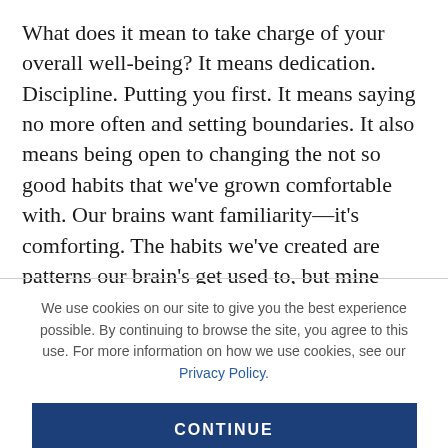What does it mean to take charge of your overall well-being? It means dedication. Discipline. Putting you first. It means saying no more often and setting boundaries. It also means being open to changing the not so good habits that we've grown comfortable with. Our brains want familiarity—it's comforting. The habits we've created are patterns our brain's get used to, but mine became a reflection of my unhealthy mental and emotional state.
We use cookies on our site to give you the best experience possible. By continuing to browse the site, you agree to this use. For more information on how we use cookies, see our Privacy Policy.
CONTINUE